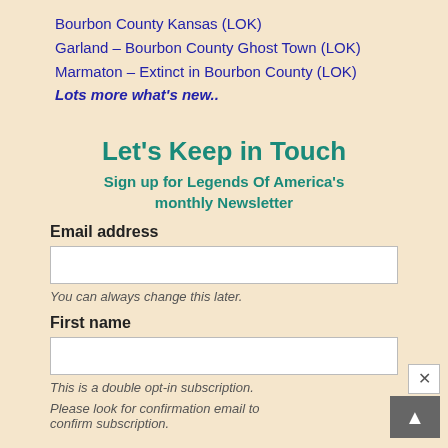Bourbon County Kansas (LOK)
Garland – Bourbon County Ghost Town (LOK)
Marmaton – Extinct in Bourbon County (LOK)
Lots more what's new..
Let's Keep in Touch
Sign up for Legends Of America's monthly Newsletter
Email address
You can always change this later.
First name
This is a double opt-in subscription.
Please look for confirmation email to confirm subscription.